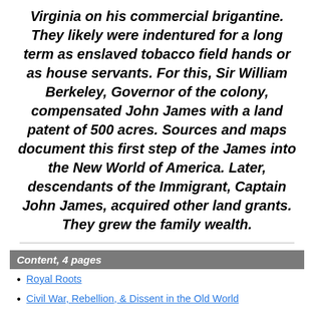Virginia on his commercial brigantine. They likely were indentured for a long term as enslaved tobacco field hands or as house servants. For this, Sir William Berkeley, Governor of the colony, compensated John James with a land patent of 500 acres. Sources and maps document this first step of the James into the New World of America. Later, descendants of the Immigrant, Captain John James, acquired other land grants. They grew the family wealth.
Content, 4 pages
Royal Roots
Civil War, Rebellion, & Dissent in the Old World
First Biography of the Immigrant in the New World